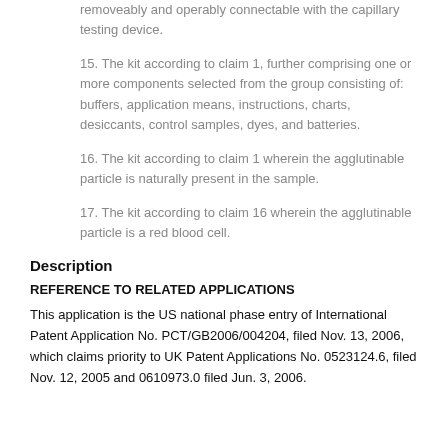removeably and operably connectable with the capillary testing device.
15. The kit according to claim 1, further comprising one or more components selected from the group consisting of: buffers, application means, instructions, charts, desiccants, control samples, dyes, and batteries.
16. The kit according to claim 1 wherein the agglutinable particle is naturally present in the sample.
17. The kit according to claim 16 wherein the agglutinable particle is a red blood cell.
Description
REFERENCE TO RELATED APPLICATIONS
This application is the US national phase entry of International Patent Application No. PCT/GB2006/004204, filed Nov. 13, 2006, which claims priority to UK Patent Applications No. 0523124.6, filed Nov. 12, 2005 and 0610973.0 filed Jun. 3, 2006.